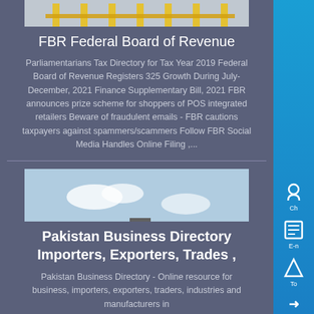[Figure (photo): Industrial scaffolding or oil rig structure with yellow metal framework, viewed from below against a bright background]
FBR Federal Board of Revenue
Parliamentarians Tax Directory for Tax Year 2019 Federal Board of Revenue Registers 325 Growth During July-December, 2021 Finance Supplementary Bill, 2021 FBR announces prize scheme for shoppers of POS integrated retailers Beware of fraudulent emails - FBR cautions taxpayers against spammers/scammers Follow FBR Social Media Handles Online Filing ,...
[Figure (photo): Industrial machinery or mobile crusher/conveyor equipment on a flat surface under a partly cloudy sky]
Pakistan Business Directory Importers, Exporters, Trades ,
Pakistan Business Directory - Online resource for business, importers, exporters, traders, industries and manufacturers in